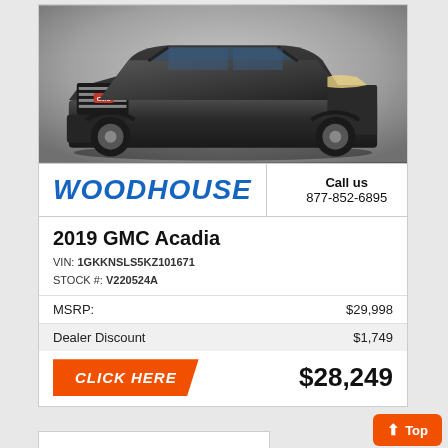[Figure (photo): Front view of a dark grey/black 2019 GMC Acadia SUV against a grey gradient background]
WOODHOUSE
Call us
877-852-6895
2019 GMC Acadia
VIN: 1GKKNSLS5KZ101671
STOCK #: V220524A
| MSRP: | $29,998 |
| Dealer Discount | $1,749 |
CLICK HERE
$28,249